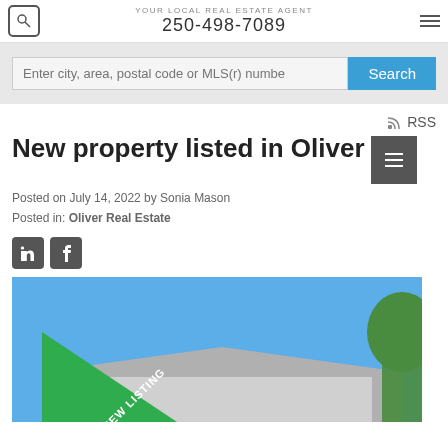YOUR LOCAL REAL ESTATE AGENT 250-498-7089
Enter city, area, postal code or MLS(r) numbe
RSS
New property listed in Oliver
Posted on July 14, 2022 by Sonia Mason
Posted in: Oliver Real Estate
[Figure (photo): Photo of a house with a green NEW LISTING banner in the top-left corner, showing the roof of a house against a blue sky with trees on the right.]